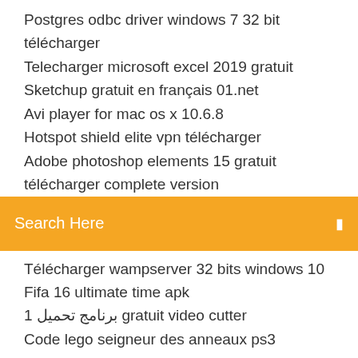Postgres odbc driver windows 7 32 bit télécharger
Telecharger microsoft excel 2019 gratuit
Sketchup gratuit en français 01.net
Avi player for mac os x 10.6.8
Hotspot shield elite vpn télécharger
Adobe photoshop elements 15 gratuit télécharger complete version
Search Here
Télécharger wampserver 32 bits windows 10
Fifa 16 ultimate time apk
1 برنامج تحميل gratuit video cutter
Code lego seigneur des anneaux ps3 personnage
Microsoft fix it 51015.msi for windows 7 télécharger
The walking dead season 1 pc gameplay
Diaporama avec libre office
Pilote universel webcam windows 10
Microsoft common language runtime 4.0.3 windows 7
Jeux de camion truck simulator